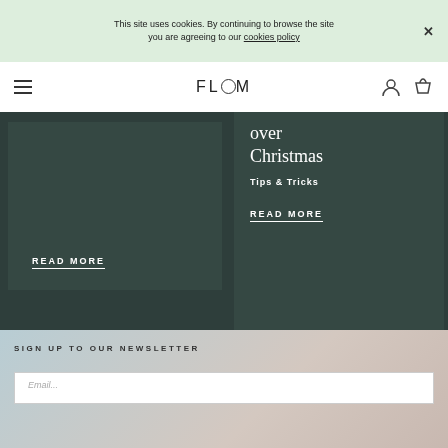This site uses cookies. By continuing to browse the site you are agreeing to our cookies policy
FLOOM
over Christmas
READ MORE
Tips & Tricks
READ MORE
SIGN UP TO OUR NEWSLETTER